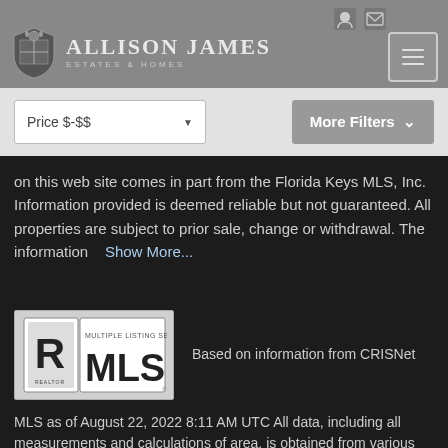[Figure (logo): Allison James Estates & Homes logo with shield and navigation menu button]
Price $-$$
More Filters
on this web site comes in part from the Florida Keys MLS, Inc. Information provided is deemed reliable but not guaranteed. All properties are subject to prior sale, change or withdrawal. The information   Show More...
[Figure (logo): Realtor MLS Multiple Listing Service logo]
Based on information from CRISNet
MLS as of August 22, 2022 8:11 AM UTC All data, including all measurements and calculations of area, is obtained from various